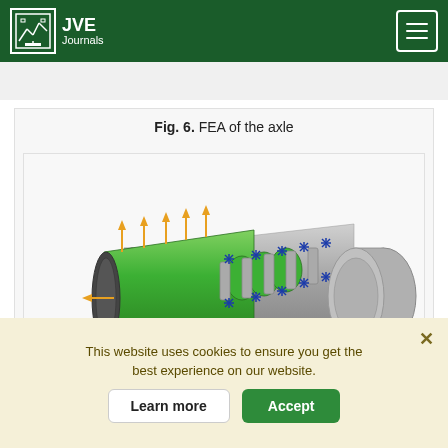JVE Journals
Fig. 6. FEA of the axle
[Figure (engineering-diagram): 3D FEA model of a cylindrical axle shaft. The left portion is green with orange upward-pointing force arrows distributed along its length. The middle section has grey rings/collars with blue star/cross constraint symbols at regular intervals. The right portion is plain grey cylindrical shaft. The model is shown in a tilted isometric perspective.]
This website uses cookies to ensure you get the best experience on our website.